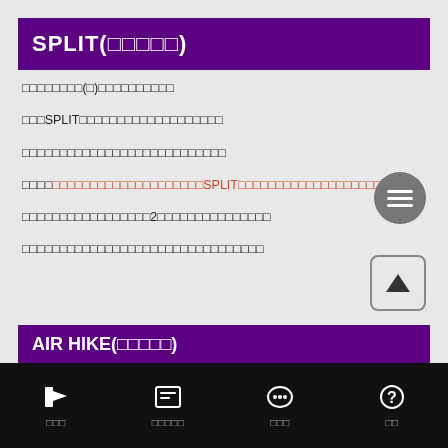SPLIT(□□□□□)
□□□□□□□□(□)□□□□□□□□□□
□□□SPLIT□□□□□□□□□□□□□□□□□□□
□□□□□□□□□□□□□□□□□□□□□□□□□□□
□□□□□□□□□□□□□□□□□□□□SPLIT□□□□□□□□□□□□□□□□□□□□□□□
□□□□□□□□□□□□□□□□□2□□□□□□□□□□□□□□□
□□□□□□□□□□□□□□□□□□□□□□□□□□□□□□□□□□
AIR HIKE(□□□□□)
□□□  □□□□□  □□□  □□